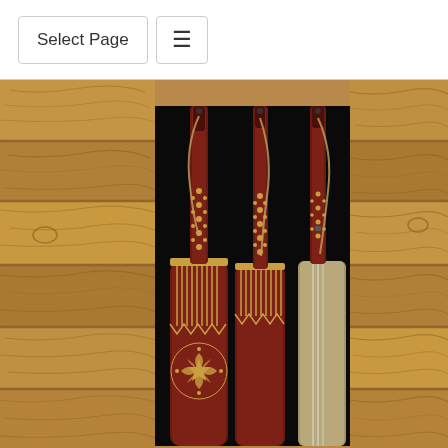Select Page
[Figure (photo): Three traditional stringed musical instruments (resembling dombyra or dombra) displayed against a dark/black background. The instruments are made of dark reddish-brown wood with intricate gold inlay decorations on the necks and bodies. The leftmost instrument has elaborate gold star and floral motifs on its body. The rightmost instrument appears to have a lighter-colored body or bow. Tan leather straps hang from the tuning pegs. The photo is flanked on both sides by a wooden plank background with visible grain and knots in warm brown tones.]